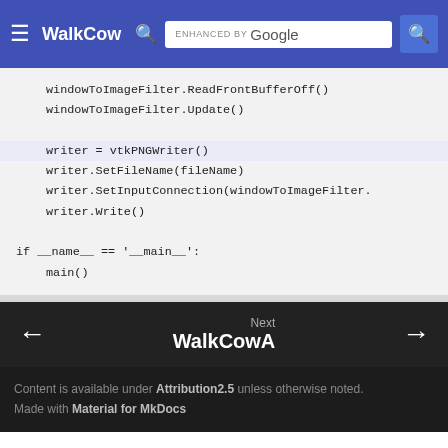WalkCow — ENHANCED BY Google
windowToImageFilter.ReadFrontBufferOff()
windowToImageFilter.Update()

writer = vtkPNGWriter()
writer.SetFileName(fileName)
writer.SetInputConnection(windowToImageFilter.
writer.Write()

if __name__ == '__main__':
    main()
Next WalkCowA →
Content is available under Attribution2.5 unless otherwise noted. Made with Material for MkDocs